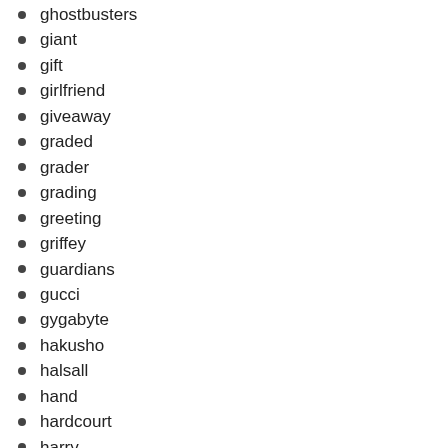ghostbusters
giant
gift
girlfriend
giveaway
graded
grader
grading
greeting
griffey
guardians
gucci
gygabyte
hakusho
halsall
hand
hardcourt
harry
heart
heavenly
hgss
high
historic